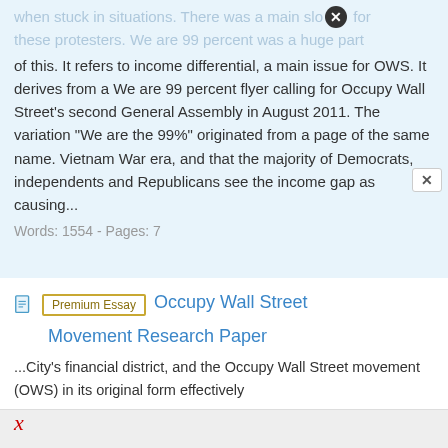when stuck in situations. There was a main slogan for these protesters. We are 99 percent was a huge part of this. It refers to income differential, a main issue for OWS. It derives from a We are 99 percent flyer calling for Occupy Wall Street's second General Assembly in August 2011. The variation "We are the 99%" originated from a page of the same name. Vietnam War era, and that the majority of Democrats, independents and Republicans see the income gap as causing...
Words: 1554 - Pages: 7
Premium Essay  Occupy Wall Street Movement Research Paper
...City's financial district, and the Occupy Wall Street movement (OWS) in its original form effectively